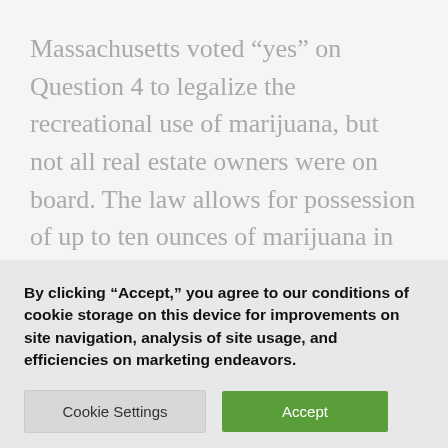Massachusetts voted “yes” on Question 4 to legalize the recreational use of marijuana, but not all real estate owners were on board. The law allows for possession of up to ten ounces of marijuana in private residences and cultivation of up to six plants on one’s property for personal use, or up to twelve plants per household if more
By clicking “Accept,” you agree to our conditions of cookie storage on this device for improvements on site navigation, analysis of site usage, and efficiencies on marketing endeavors.